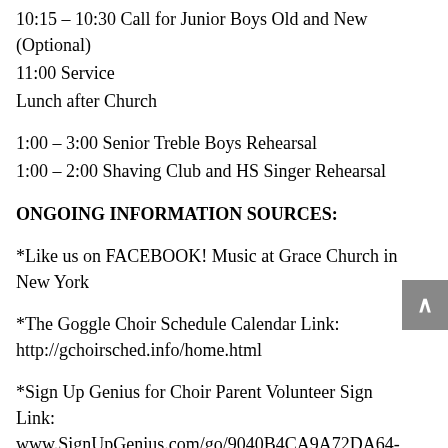10:15 – 10:30 Call for Junior Boys Old and New (Optional)
11:00 Service
Lunch after Church
1:00 – 3:00 Senior Treble Boys Rehearsal
1:00 – 2:00 Shaving Club and HS Singer Rehearsal
ONGOING INFORMATION SOURCES:
*Like us on FACEBOOK! Music at Grace Church in New York
*The Goggle Choir Schedule Calendar Link: http://gchoirsched.info/home.html
*Sign Up Genius for Choir Parent Volunteer Sign Link: www.SignUpGenius.com/go/9040B4CA9A72DA64-choir/11611445
*To Sign Up to help with the Annual Concert